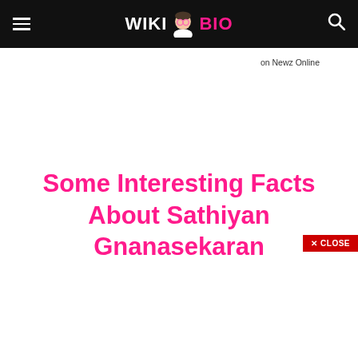WIKI BIO — on Newz Online
Some Interesting Facts About Sathiyan Gnanasekaran